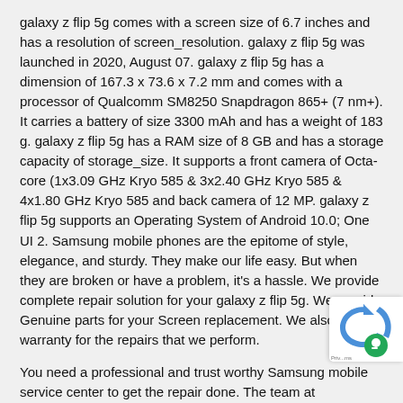galaxy z flip 5g comes with a screen size of 6.7 inches and has a resolution of screen_resolution. galaxy z flip 5g was launched in 2020, August 07. galaxy z flip 5g has a dimension of 167.3 x 73.6 x 7.2 mm and comes with a processor of Qualcomm SM8250 Snapdragon 865+ (7 nm+). It carries a battery of size 3300 mAh and has a weight of 183 g. galaxy z flip 5g has a RAM size of 8 GB and has a storage capacity of storage_size. It supports a front camera of Octa-core (1x3.09 GHz Kryo 585 & 3x2.40 GHz Kryo 585 & 4x1.80 GHz Kryo 585 and back camera of 12 MP. galaxy z flip 5g supports an Operating System of Android 10.0; One UI 2. Samsung mobile phones are the epitome of style, elegance, and sturdy. They make our life easy. But when they are broken or have a problem, it's a hassle. We provide complete repair solution for your galaxy z flip 5g. We provide Genuine parts for your Screen replacement. We also provide warranty for the repairs that we perform.
You need a professional and trust worthy Samsung mobile service center to get the repair done. The team at HelpForSure offers genuine Samsung mobile parts repair and service. The ski... technicians can fix the most common problems like battery... screen damage, or MIC repair and also address rare proble... water damage.